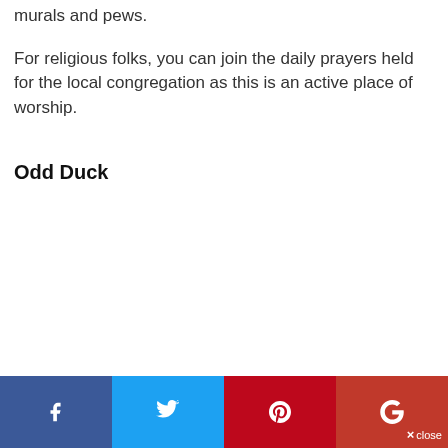murals and pews.
For religious folks, you can join the daily prayers held for the local congregation as this is an active place of worship.
Odd Duck
f  [twitter]  [pinterest]  g+  × close